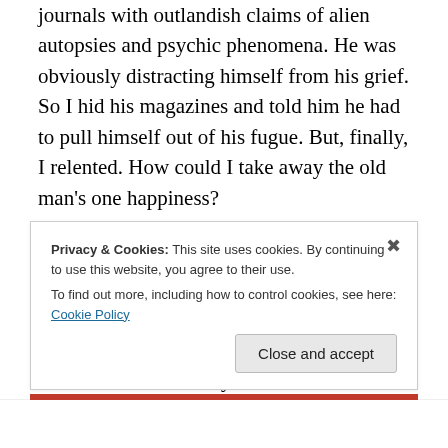journals with outlandish claims of alien autopsies and psychic phenomena. He was obviously distracting himself from his grief. So I hid his magazines and told him he had to pull himself out of his fugue. But, finally, I relented. How could I take away the old man's one happiness?

So on that day, the day the saucers descended upon every major city of the Earth, Pop positively vibrated with anticipation. I promised to take him out to the field in New Jersey where one of the vast flying discs had landed. We'd join the crowds of onlookers, scientists, and soldiers that
Privacy & Cookies: This site uses cookies. By continuing to use this website, you agree to their use.
To find out more, including how to control cookies, see here: Cookie Policy